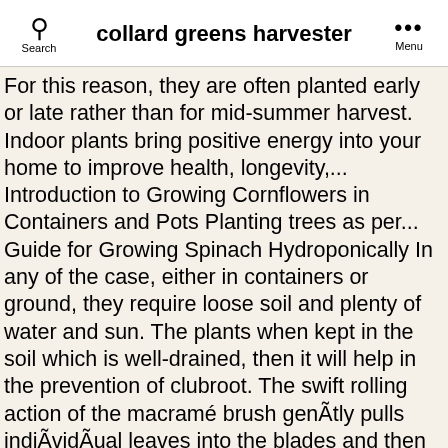collard greens harvester
For this reason, they are often planted early or late rather than for mid-summer harvest. Indoor plants bring positive energy into your home to improve health, longevity,... Introduction to Growing Cornflowers in Containers and Pots Planting trees as per... Guide for Growing Spinach Hydroponically In any of the case, either in containers or ground, they require loose soil and plenty of water and sun. The plants when kept in the soil which is well-drained, then it will help in the prevention of clubroot. The swift rolling action of the macramé brush genÃtly pulls indiÃvidÃual leaves into the blades and then tossÃes them to the back of the basket. But in the northern areas, the collard greens may be planted a little earlier for fall or winter harvest. You can also check Growing Water Spinach at Home. In this blog, you'll... Introduction to Growing Jade Plants in Pots Now back to farming, gardening profession as a plant Breeder, Gardener and Writer. Hydroponics farming is an emerging sustainable